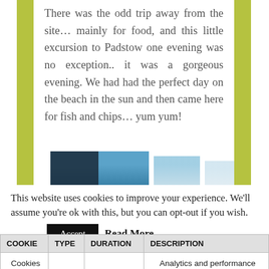There was the odd trip away from the site… mainly for food, and this little excursion to Padstow one evening was no exception.. it was a gorgeous evening. We had had the perfect day on the beach in the sun and then came here for fish and chips… yum yum!
[Figure (photo): Partial view of building/architectural photo thumbnails showing blue sky and dark structures, cropped at bottom of blog section]
This website uses cookies to improve your experience. We'll assume you're ok with this, but you can opt-out if you wish.
| COOKIE | TYPE | DURATION | DESCRIPTION |
| --- | --- | --- | --- |
| Cookies |  |  | Analytics and performance |